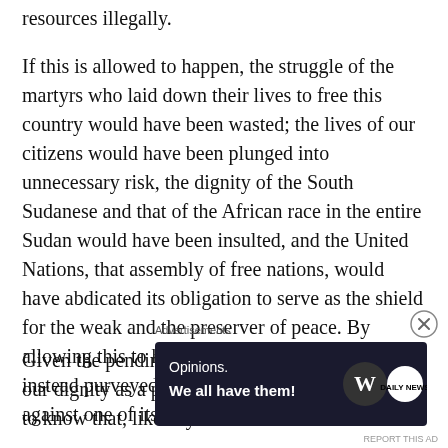resources illegally.
If this is allowed to happen, the struggle of the martyrs who laid down their lives to free this country would have been wasted; the lives of our citizens would have been plunged into unnecessary risk, the dignity of the South Sudanese and that of the African race in the entire Sudan would have been insulted, and the United Nations, that assembly of free nations, would have abdicated its obligation to serve as the shield for the weak and the preserver of peace. By allowing this to happen, the UN would have instead purveyed an unfathomable violence against one of its members.
Given the pending destruction of our country and our dignity as a people, we would like the world to know that, like any
Advertisements
[Figure (other): Advertisement banner: dark background with text 'Opinions. We all have them!' and WordPress logo and another circular logo on the right side.]